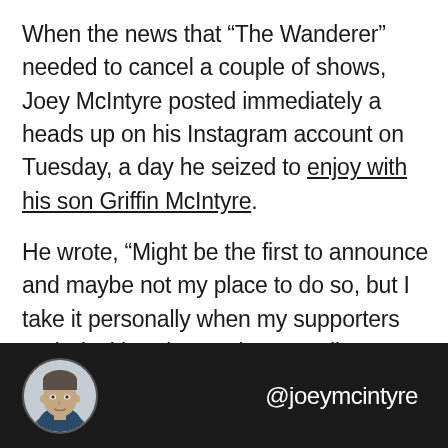When the news that “The Wanderer” needed to cancel a couple of shows, Joey McIntyre posted immediately a heads up on his Instagram account on Tuesday, a day he seized to enjoy with his son Griffin McIntyre.
He wrote, “Might be the first to announce and maybe not my place to do so, but I take it personally when my supporters and Blockheads travel many miles to come see.”
[Figure (screenshot): Dark Instagram card showing a circular profile photo of Joey McIntyre (a middle-aged man) on the left and the handle @joeymcintyre on the right, on a dark/black background.]